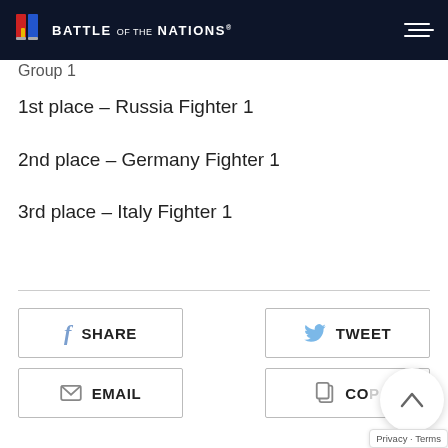Battle of Nations
Group 1
1st place – Russia Fighter 1
2nd place – Germany Fighter 1
3rd place – Italy Fighter 1
SHARE | TWEET | EMAIL | COPY